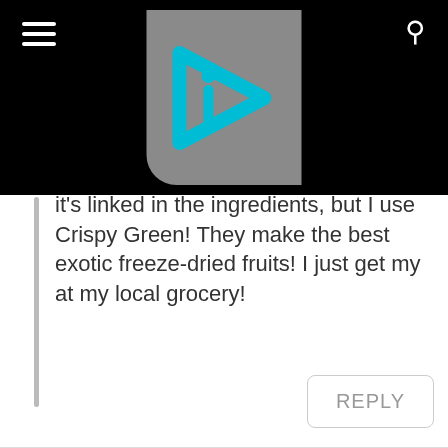[Figure (logo): Website header with black background, hamburger menu icon on left, search icon on right, and a gray logo box in center featuring a cyan/teal play-button arrow with letter 'i' inside]
it's linked in the ingredients, but I use Crispy Green! They make the best exotic freeze-dried fruits! I just get my at my local grocery!
REPLY